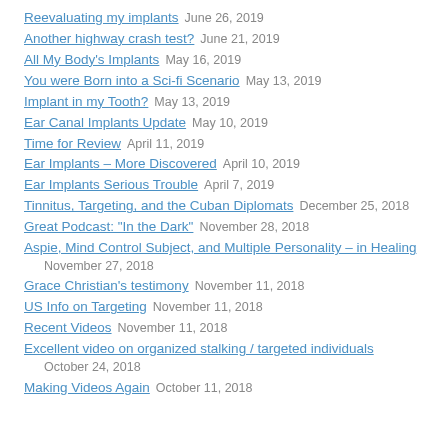Reevaluating my implants  June 26, 2019
Another highway crash test?  June 21, 2019
All My Body's Implants  May 16, 2019
You were Born into a Sci-fi Scenario  May 13, 2019
Implant in my Tooth?  May 13, 2019
Ear Canal Implants Update  May 10, 2019
Time for Review  April 11, 2019
Ear Implants – More Discovered  April 10, 2019
Ear Implants Serious Trouble  April 7, 2019
Tinnitus, Targeting, and the Cuban Diplomats  December 25, 2018
Great Podcast: "In the Dark"  November 28, 2018
Aspie, Mind Control Subject, and Multiple Personality – in Healing  November 27, 2018
Grace Christian's testimony  November 11, 2018
US Info on Targeting  November 11, 2018
Recent Videos  November 11, 2018
Excellent video on organized stalking / targeted individuals  October 24, 2018
Making Videos Again  October 11, 2018